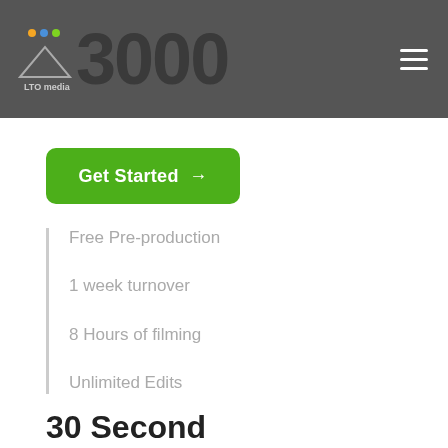$3000
[Figure (logo): LTO media company logo with small colored dots (orange, blue, green) above a road/mountain graphic and text 'LTO media']
Get Started →
Free Pre-production
1 week turnover
8 Hours of filming
Unlimited Edits
30 Second